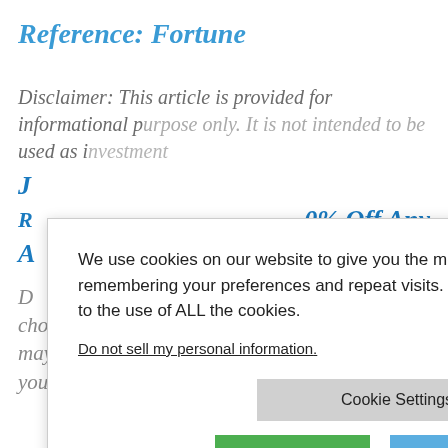Reference: Fortune
Disclaimer: This article is provided for informational purposes only. It is not intended to be used as investment...
We use cookies on our website to give you the most relevant experience by remembering your preferences and repeat visits. By clicking “Accept”, you consent to the use of ALL the cookies.
Do not sell my personal information.
Cookie Settings
Accept
Reject All
0% Off Any
Do not sell my... e links. If you choose to make a purchase after clicking a link may receive a commission at no additional cost you. Thank you for your support!